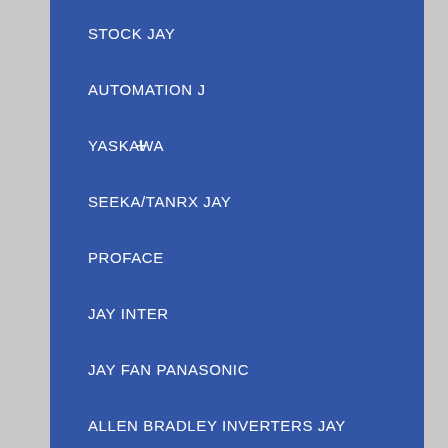STOCK JAY
AUTOMATION J
YASKAWA
SEEKA/TANRX JAY
PROFACE
JAY INTER
JAY FAN PANASONIC
ALLEN BRADLEY INVERTERS JAY
FOTEK PHOTO SWZICH ราคาถูก